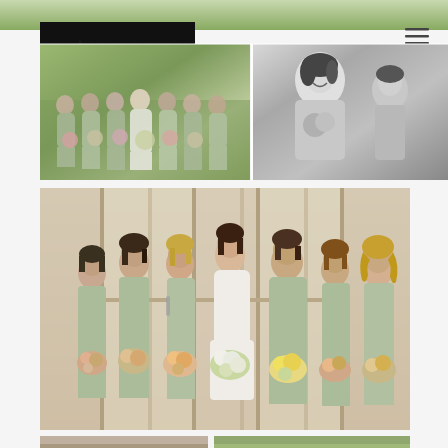[Figure (photo): Website header collage: top-left logo 'TM Inspired Photography' with dark background and pine trees silhouette, top-right hamburger menu icon. Below logo: color photo of bridesmaids in sage green dresses walking outdoors. Right side: black and white photo of smiling bride holding flowers.]
[Figure (photo): Large indoor photo of bride in white dress flanked by six bridesmaids in sage/mint green short dresses, all holding colorful floral bouquets, standing in front of large white-framed glass doors/windows.]
[Figure (photo): Bottom strip showing partial view of two more wedding photos — left appears to be an indoor scene, right appears to be an outdoor garden/vineyard scene.]